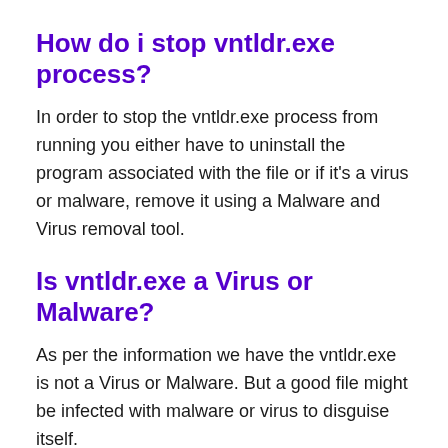How do i stop vntldr.exe process?
In order to stop the vntldr.exe process from running you either have to uninstall the program associated with the file or if it's a virus or malware, remove it using a Malware and Virus removal tool.
Is vntldr.exe a Virus or Malware?
As per the information we have the vntldr.exe is not a Virus or Malware. But a good file might be infected with malware or virus to disguise itself.